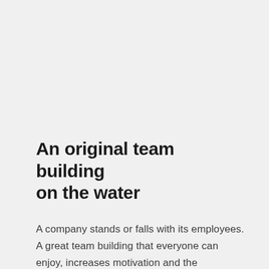An original team building on the water
A company stands or falls with its employees. A great team building that everyone can enjoy, increases motivation and the atmosphere in the workplace. A boat trip on the River Leie